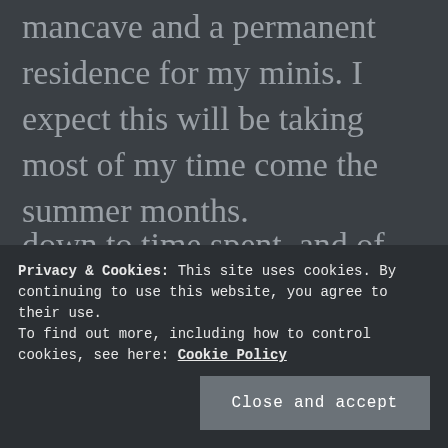mancave and a permanent residence for my minis. I expect this will be taking most of my time come the summer months.
But paintingwise I think I still will try for the same target as 2016, namely an average of one painted mini per day for a total of 365 at years end. This should be doable. I mean, if I had the time and inclination to paint even
Privacy & Cookies: This site uses cookies. By continuing to use this website, you agree to their use.
To find out more, including how to control cookies, see here: Cookie Policy
Close and accept
down to time spent, and of course, how many of the minis are similarly painted so I can